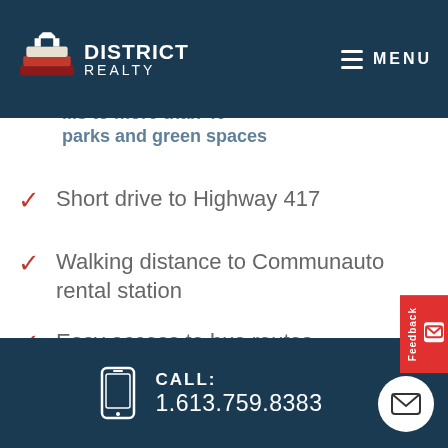DISTRICT REALTY | MENU
...access to more than 40 parks and green spaces
Short drive to Highway 417
Walking distance to Communauto rental station
Easy access to bus routes
CALL: 1.613.759.8383